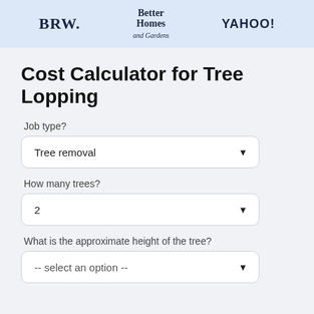[Figure (logo): Header bar with three publication logos: BRW., Better Homes and Gardens, and YAHOO!]
Cost Calculator for Tree Lopping
Job type?
Tree removal
How many trees?
2
What is the approximate height of the tree?
-- select an option --